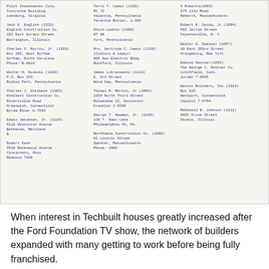[Figure (other): Scanned document page listing Techbuilt house builders with names, ID numbers, and addresses arranged in three columns in purple/blue typewriter text on aged paper background.]
When interest in Techbuilt houses greatly increased after the Ford Foundation TV show, the network of builders expanded with many getting to work before being fully franchised.